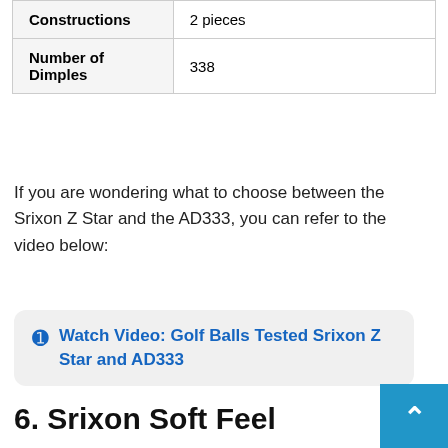| Constructions | 2 pieces |
| Number of Dimples | 338 |
If you are wondering what to choose between the Srixon Z Star and the AD333, you can refer to the video below:
Watch Video: Golf Balls Tested Srixon Z Star and AD333
6. Srixon Soft Feel